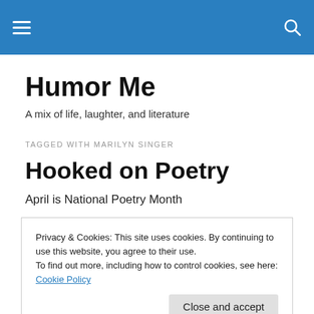Humor Me — navigation header
Humor Me
A mix of life, laughter, and literature
TAGGED WITH MARILYN SINGER
Hooked on Poetry
April is National Poetry Month
Privacy & Cookies: This site uses cookies. By continuing to use this website, you agree to their use.
To find out more, including how to control cookies, see here: Cookie Policy
Close and accept
know that poetry is much more than that. Let's look at